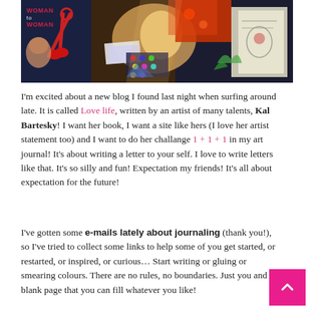[Figure (photo): A collage/craft workspace photo showing scissors, colorful papers, magazines, scrapbooking materials. Text 'WOMAN to WOMAN' visible in top-left corner.]
I'm excited about a new blog I found last night when surfing around late. It is called Love life, written by an artist of many talents, Kal Bartesky! I want her book, I want a site like hers (I love her artist statement too) and I want to do her challange 1 + 1 + 1 in my art journal! It's about writing a letter to your self. I love to write letters like that. It's so silly and fun! Expectation my friends! It's all about expectation for the future!
I've gotten some e-mails lately about journaling (thank you!), so I've tried to collect some links to help some of you get started, or restarted, or inspired, or curious… Start writing or gluing or smearing colours. There are no rules, no boundaries. Just you and a blank page that you can fill whatever you like!